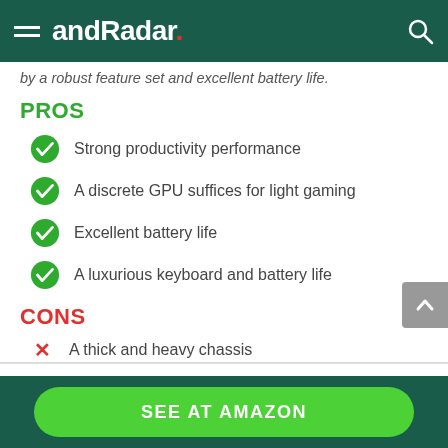andRadar.
by a robust feature set and excellent battery life.
PROS
Strong productivity performance
A discrete GPU suffices for light gaming
Excellent battery life
A luxurious keyboard and battery life
CONS
A thick and heavy chassis
Wide display bezels
SEE AT AMAZON